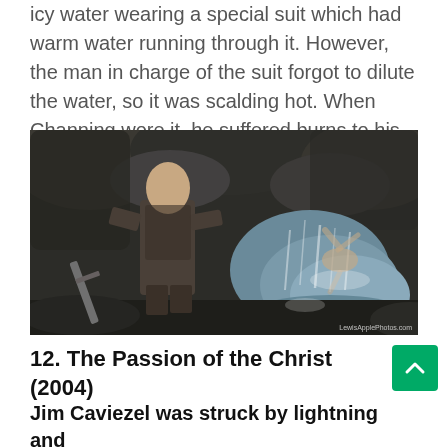icy water wearing a special suit which had warm water running through it. However, the man in charge of the suit forgot to dilute the water, so it was scalding hot. When Channing wore it, he suffered burns to his genital area.
[Figure (photo): A man in medieval warrior costume holding a sword, crouching near a waterfall or rocky river scene. Another figure visible in the background near rushing water.]
12. The Passion of the Christ (2004)
Jim Caviezel was struck by lightning and